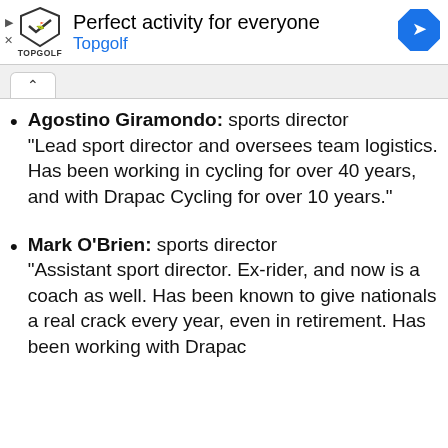[Figure (infographic): Advertisement banner for Topgolf: 'Perfect activity for everyone' with Topgolf logo and navigation icon]
Agostino Giramondo: sports director
"Lead sport director and oversees team logistics. Has been working in cycling for over 40 years, and with Drapac Cycling for over 10 years."
Mark O'Brien: sports director
"Assistant sport director. Ex-rider, and now is a coach as well. Has been known to give nationals a real crack every year, even in retirement. Has been working with Drapac..."